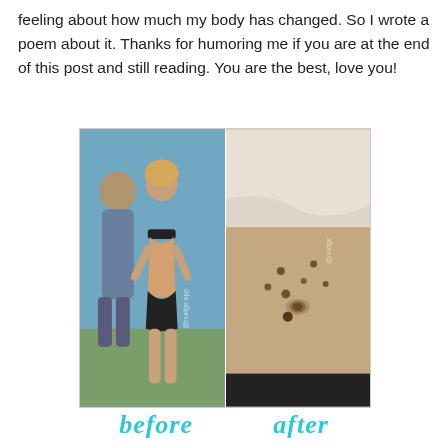feeling about how much my body has changed. So I wrote a poem about it. Thanks for humoring me if you are at the end of this post and still reading. You are the best, love you!
[Figure (photo): Before and after comparison photo. Left side shows a woman in a black bikini at a beach with a man. Right side shows a close-up of a woman's midsection showing skin changes. Labels 'before' and 'after' appear below in cyan/teal italic text.]